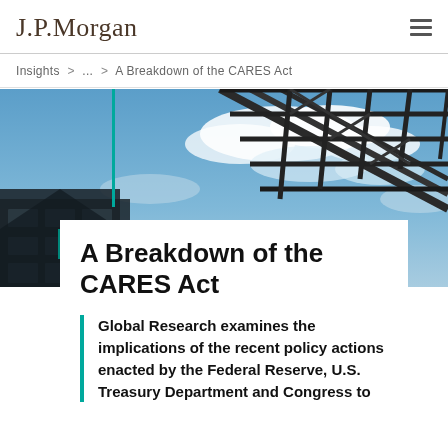J.P.Morgan
Insights > ... > A Breakdown of the CARES Act
[Figure (photo): Industrial steel structure/crane against a blue sky with clouds, used as hero image for a J.P. Morgan research article about the CARES Act]
RESEARCH
A Breakdown of the CARES Act
Global Research examines the implications of the recent policy actions enacted by the Federal Reserve, U.S. Treasury Department and Congress to